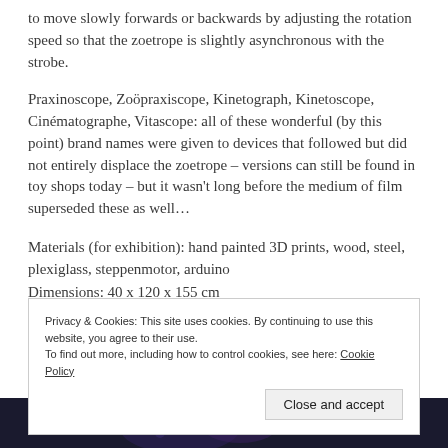to move slowly forwards or backwards by adjusting the rotation speed so that the zoetrope is slightly asynchronous with the strobe.
Praxinoscope, Zoöpraxiscope, Kinetograph, Kinetoscope, Cinématographe, Vitascope: all of these wonderful (by this point) brand names were given to devices that followed but did not entirely displace the zoetrope – versions can still be found in toy shops today – but it wasn't long before the medium of film superseded these as well…
Materials (for exhibition): hand painted 3D prints, wood, steel, plexiglass, steppenmotor, arduino
Dimensions: 40 x 120 x 155 cm
Privacy & Cookies: This site uses cookies. By continuing to use this website, you agree to their use.
To find out more, including how to control cookies, see here: Cookie Policy
[Figure (photo): Dark image strip at the bottom of the page showing a dimly lit scene with blue/purple tones]